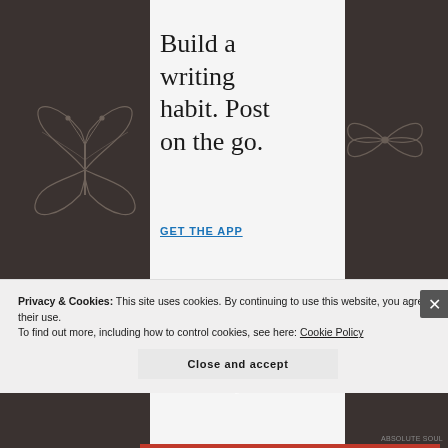[Figure (screenshot): Dark brownish-grey background with faint butterfly and bow illustrations on left and right sides, with italic white text fragments 'alised' and 'poke k' visible on the right]
Build a writing habit. Post on the go.
GET THE APP
Privacy & Cookies: This site uses cookies. By continuing to use this website, you agree to their use.
To find out more, including how to control cookies, see here: Cookie Policy
Close and accept